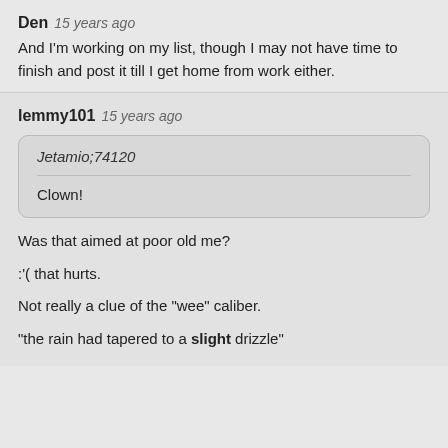Den 15 years ago
And I'm working on my list, though I may not have time to finish and post it till I get home from work either.
lemmy101 15 years ago
Jetamio;74120
Clown!
Was that aimed at poor old me?
:'( that hurts.
Not really a clue of the "wee" caliber.
"the rain had tapered to a slight drizzle"